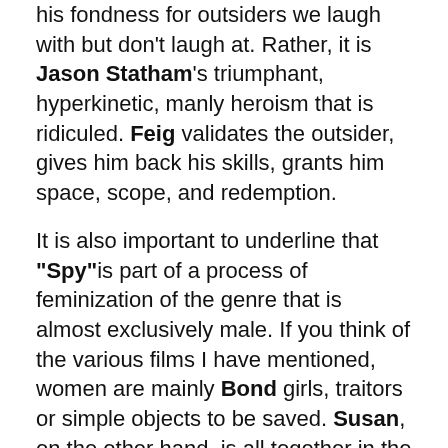his fondness for outsiders we laugh with but don't laugh at. Rather, it is Jason Statham's triumphant, hyperkinetic, manly heroism that is ridiculed. Feig validates the outsider, gives him back his skills, grants him space, scope, and redemption.
It is also important to underline that "Spy" is part of a process of feminization of the genre that is almost exclusively male. If you think of the various films I have mentioned, women are mainly Bond girls, traitors or simple objects to be saved. Susan, on the other hand, is all together in the same film: the sexual interest, the courageous protagonist and the main comic engine. All of this is Melissa McCarthy, actress in fact on which the film rests and for which you have her to thank above all, if the film has satisfied you.
She has also found...